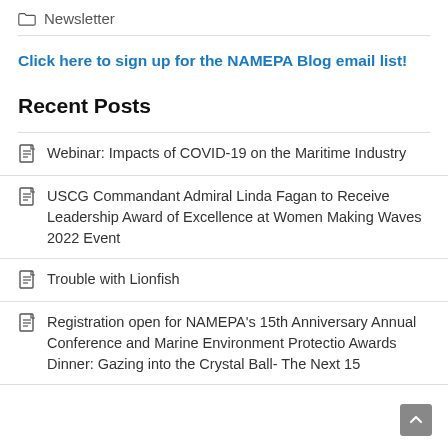Newsletter
Click here to sign up for the NAMEPA Blog email list!
Recent Posts
Webinar: Impacts of COVID-19 on the Maritime Industry
USCG Commandant Admiral Linda Fagan to Receive Leadership Award of Excellence at Women Making Waves 2022 Event
Trouble with Lionfish
Registration open for NAMEPA's 15th Anniversary Annual Conference and Marine Environment Protectio Awards Dinner: Gazing into the Crystal Ball- The Next 15